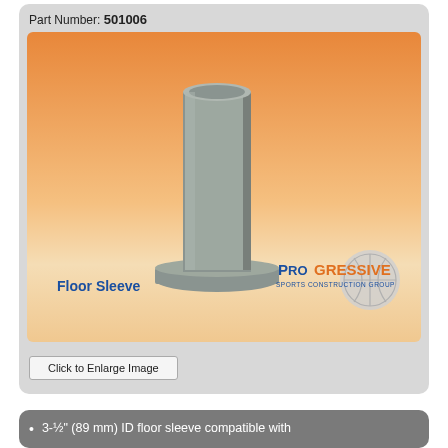Part Number: 501006
[Figure (illustration): 3D rendering of a floor sleeve product — a cylindrical metal tube mounted on a flat square base plate, shown in grey/silver color against an orange-to-cream gradient background. Labeled 'Floor Sleeve' with the Progressive Sports Construction Group logo.]
Click to Enlarge Image
3-½" (89 mm) ID floor sleeve compatible with